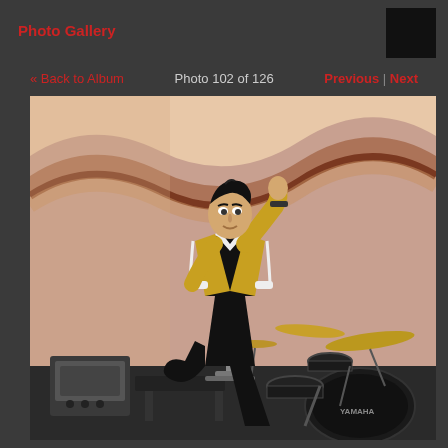Photo Gallery
« Back to Album    Photo 102 of 126    Previous | Next
[Figure (photo): An Elvis-style performer in a gold and white blazer poses dramatically at a vintage microphone stand on stage. A Yamaha drum kit is visible on the right and a guitar amplifier on the left. The background has a stylized wavy decorative panel in warm orange and brown tones.]